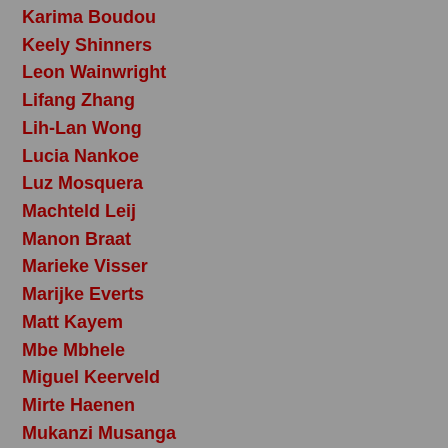Karima Boudou
Keely Shinners
Leon Wainwright
Lifang Zhang
Lih-Lan Wong
Lucia Nankoe
Luz Mosquera
Machteld Leij
Manon Braat
Marieke Visser
Marijke Everts
Matt Kayem
Mbe Mbhele
Miguel Keerveld
Mirte Haenen
Mukanzi Musanga
Mulugeta Tafesse
Nikola Mabosa